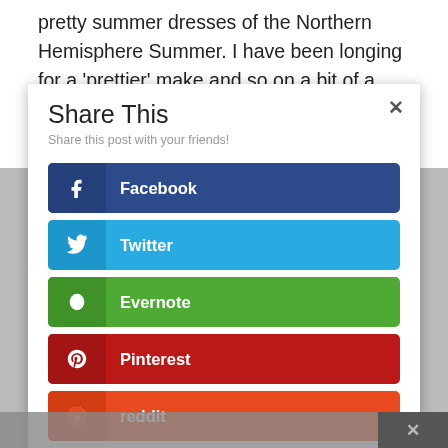pretty summer dresses of the Northern Hemisphere Summer. I have been longing for a 'prettier' make and so on a bit of a whim I made a
[Figure (screenshot): Share This modal dialog with social sharing buttons for Facebook, Twitter, Evernote, Pinterest, and reddit. Includes a close (×) button, subtitle 'Share this post with your friends!', and colored buttons with icons for each platform.]